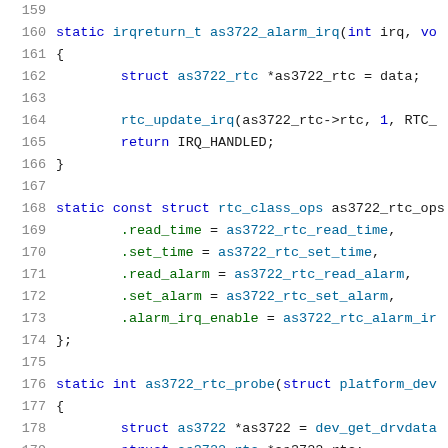Source code listing lines 159-180, C code for as3722 RTC driver
159: (blank)
160: static irqreturn_t as3722_alarm_irq(int irq, vo
161: {
162:         struct as3722_rtc *as3722_rtc = data;
163: (blank)
164:         rtc_update_irq(as3722_rtc->rtc, 1, RTC_
165:         return IRQ_HANDLED;
166: }
167: (blank)
168: static const struct rtc_class_ops as3722_rtc_ops
169:         .read_time = as3722_rtc_read_time,
170:         .set_time = as3722_rtc_set_time,
171:         .read_alarm = as3722_rtc_read_alarm,
172:         .set_alarm = as3722_rtc_set_alarm,
173:         .alarm_irq_enable = as3722_rtc_alarm_ir
174: };
175: (blank)
176: static int as3722_rtc_probe(struct platform_dev
177: {
178:         struct as3722 *as3722 = dev_get_drvdata
179:         struct as3722_rtc *as3722_rtc;
180:         int ret;